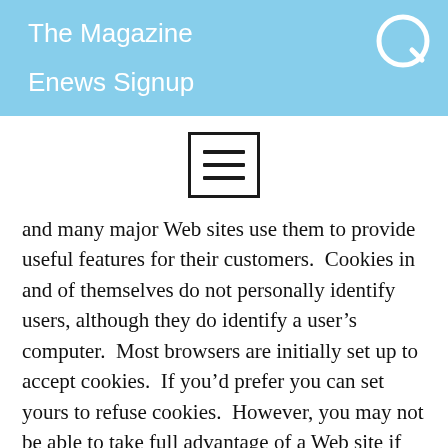The Magazine
Enews Signup
[Figure (other): Hamburger menu icon inside a rectangle border]
and many major Web sites use them to provide useful features for their customers.  Cookies in and of themselves do not personally identify users, although they do identify a user’s computer.  Most browsers are initially set up to accept cookies.  If you’d prefer you can set yours to refuse cookies.  However, you may not be able to take full advantage of a Web site if you do so.
Subscriber Communication